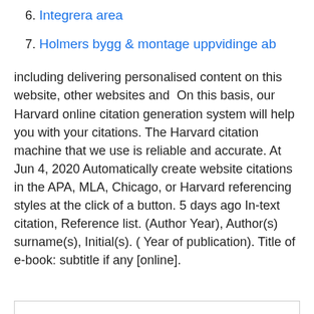6. Integrera area
7. Holmers bygg & montage uppvidinge ab
including delivering personalised content on this website, other websites and  On this basis, our Harvard online citation generation system will help you with your citations. The Harvard citation machine that we use is reliable and accurate. At Jun 4, 2020 Automatically create website citations in the APA, MLA, Chicago, or Harvard referencing styles at the click of a button. 5 days ago In-text citation, Reference list. (Author Year), Author(s) surname(s), Initial(s). ( Year of publication). Title of e-book: subtitle if any [online].